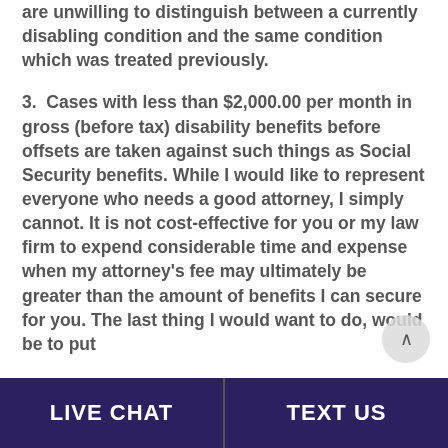are unwilling to distinguish between a currently disabling condition and the same condition which was treated previously.
3.  Cases with less than $2,000.00 per month in gross (before tax) disability benefits before offsets are taken against such things as Social Security benefits. While I would like to represent everyone who needs a good attorney, I simply cannot. It is not cost-effective for you or my law firm to expend considerable time and expense when my attorney's fee may ultimately be greater than the amount of benefits I can secure for you. The last thing I would want to do, would be to put
LIVE CHAT   TEXT US